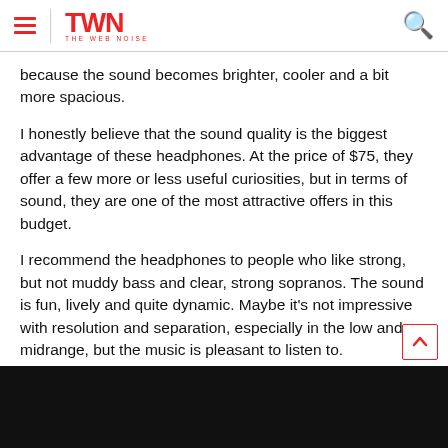TWN THE WEB NOISE
because the sound becomes brighter, cooler and a bit more spacious.
I honestly believe that the sound quality is the biggest advantage of these headphones. At the price of $75, they offer a few more or less useful curiosities, but in terms of sound, they are one of the most attractive offers in this budget.
I recommend the headphones to people who like strong, but not muddy bass and clear, strong sopranos. The sound is fun, lively and quite dynamic. Maybe it's not impressive with resolution and separation, especially in the low and midrange, but the music is pleasant to listen to.
[Figure (photo): Dark/black video thumbnail area at the bottom of the page]